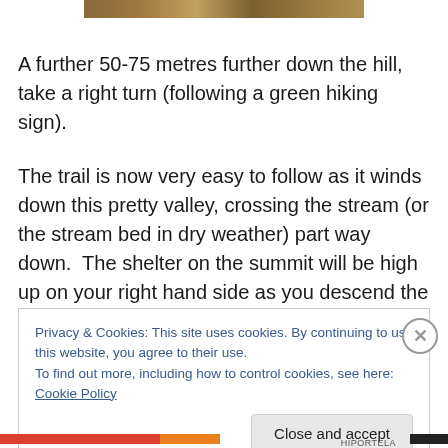[Figure (photo): Partial view of an outdoor nature/trail photo strip at the top of the page]
A further 50-75 metres further down the hill, take a right turn (following a green hiking sign).
The trail is now very easy to follow as it winds down this pretty valley, crossing the stream (or the stream bed in dry weather) part way down.  The shelter on the summit will be high up on your right hand side as you descend the
Privacy & Cookies: This site uses cookies. By continuing to use this website, you agree to their use.
To find out more, including how to control cookies, see here: Cookie Policy
Close and accept